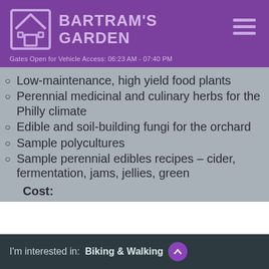BARTRAM'S GARDEN
Gates Open for Vehicle Access: 06:23 AM - 07:40 PM
Low-maintenance, high yield food plants
Perennial medicinal and culinary herbs for the Philly climate
Edible and soil-building fungi for the orchard
Sample polycultures
Sample perennial edibles recipes – cider, fermentation, jams, jellies, green
Cost:
I'm interested in:  Biking & Walking